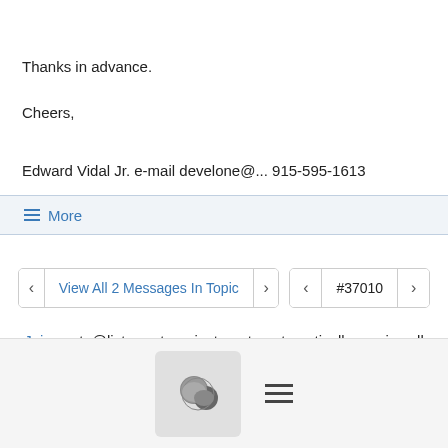Thanks in advance.
Cheers,
Edward Vidal Jr. e-mail develone@... 915-595-1613
≡ More
[Figure (other): Navigation buttons: left arrow, 'View All 2 Messages In Topic', right arrow, left arrow, #37010, right arrow]
Join yocto@lists.yoctoproject.org to automatically receive all group messages.
[Figure (other): Footer bar with chat icon button and hamburger menu icon]